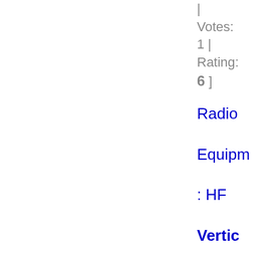| Votes: 1 | Rating: 6 ]
Radio Equipment : HF Vertical Antenna : Cushcraft R8
Cushcraft R8 Multiband HF Antenna